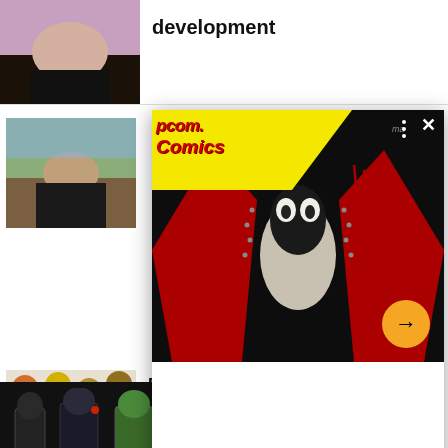development
[Figure (photo): Person in pink top and black skirt with legs visible]
[Figure (photo): Person sitting outdoors on rocky/hilly terrain in black outfit]
[Figure (screenshot): Comic book popup overlay showing a dark comic artwork with red and black figure, yellow banner with 'Comics' title text, close button X, three dots menu, and orange circular next arrow button]
[Figure (photo): Batman Funko Pop figures - black Batman, Batman, and green creature figure]
[Figure (photo): Black Adam Funko Pop figures group]
Funko opens reorders for Black Adam Pop! figures